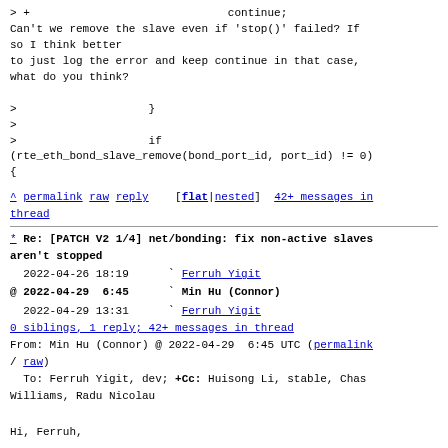> +                              continue;

Can't we remove the slave even if 'stop()' failed? If
so I think better
to just log the error and keep continue in that case,
what do you think?

>                    }
>
>                    if
(rte_eth_bond_slave_remove(bond_port_id, port_id) != 0)
{
^ permalink raw reply    [flat|nested]  42+ messages in
thread
* Re: [PATCH V2 1/4] net/bonding: fix non-active slaves
aren't stopped
  2022-04-26 18:19      ` Ferruh Yigit
@ 2022-04-29  6:45      ` Min Hu (Connor)
  2022-04-29 13:31        ` Ferruh Yigit
  0 siblings, 1 reply; 42+ messages in thread
From: Min Hu (Connor) @ 2022-04-29  6:45 UTC (permalink
/ raw)
  To: Ferruh Yigit, dev; +Cc: Huisong Li, stable, Chas
Williams, Radu Nicolau

Hi, Ferruh,